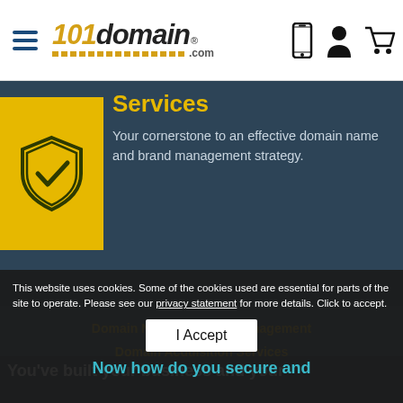101domain.com navigation bar with hamburger menu, logo, phone icon, user icon, cart icon
Services
Your cornerstone to an effective domain name and brand management strategy.
Domain Name Portfolio Management
Domain Acquisition Services
Monitoring & Enforcement Services
Advanced Security & Tools
You've built your business and your
Now how do you secure and
This website uses cookies. Some of the cookies used are essential for parts of the site to operate. Please see our privacy statement for more details. Click to accept.
I Accept